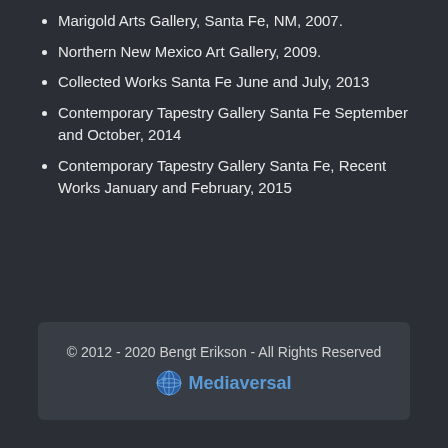Marigold Arts Gallery, Santa Fe, NM, 2007.
Northern New Mexico Art Gallery, 2009.
Collected Works Santa Fe June and July, 2013
Contemporary Tapestry Gallery Santa Fe September and October, 2014
Contemporary Tapestry Gallery Santa Fe, Recent Works January and February, 2015
© 2012 - 2020 Bengt Erikson - All Rights Reserved
Mediaversal